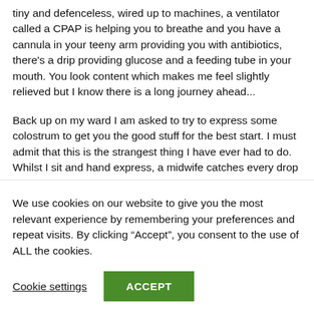tiny and defenceless, wired up to machines, a ventilator called a CPAP is helping you to breathe and you have a cannula in your teeny arm providing you with antibiotics, there's a drip providing glucose and a feeding tube in your mouth. You look content which makes me feel slightly relieved but I know there is a long journey ahead...
Back up on my ward I am asked to try to express some colostrum to get you the good stuff for the best start. I must admit that this is the strangest thing I have ever had to do. Whilst I sit and hand express, a midwife catches every drop she can in a tiny syringe. She then hands this job over to your Daddy and I can't stop giggling as he takes his
We use cookies on our website to give you the most relevant experience by remembering your preferences and repeat visits. By clicking “Accept”, you consent to the use of ALL the cookies.
Cookie settings
ACCEPT